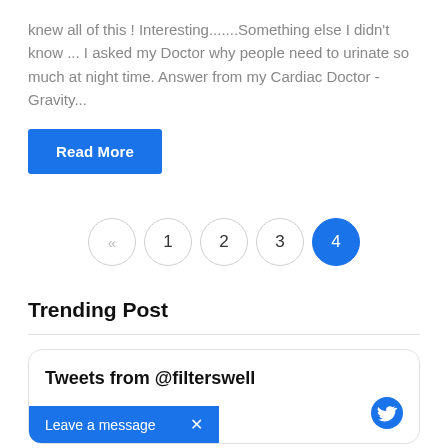knew all of this ! Interesting.......Something else I didn't know ... I asked my Doctor why people need to urinate so much at night time. Answer from my Cardiac Doctor -Gravity...
Read More
[Figure (other): Pagination control with back arrow, pages 1, 2, 3, and active page 4]
Trending Post
Tweets from @filterswell
scount fridg...
Leave a message